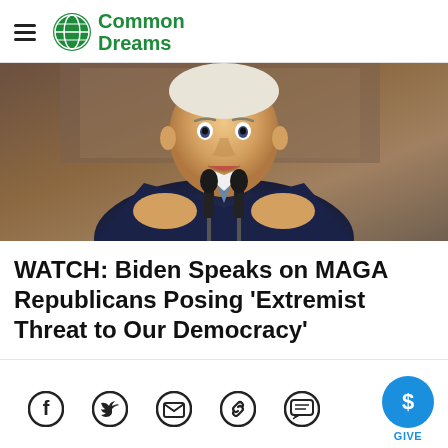Common Dreams
[Figure (photo): President Biden speaking at a podium with two microphones, gesturing with both hands, wearing a navy suit and striped tie, with a painting visible in the background.]
WATCH: Biden Speaks on MAGA Republicans Posing 'Extremist Threat to Our Democracy'
[Figure (infographic): Social sharing icons: Facebook, Twitter, Email, Link, Comment, and a blue circular GIVE button]